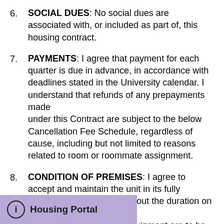6. SOCIAL DUES: No social dues are associated with, or included as part of, this housing contract.
7. PAYMENTS: I agree that payment for each quarter is due in advance, in accordance with deadlines stated in the University calendar. I understand that refunds of any prepayments made under this Contract are subject to the below Cancellation Fee Schedule, regardless of cause, including but not limited to reasons related to room or roommate assignment.
8. CONDITION OF PREMISES: I agree to accept and maintain the unit in its fully furnished condition throughout the duration on this contract. All and equipment are to be kept
[Figure (other): Housing Portal info bar with circle-i icon and bold text 'Housing Portal' on a light purple background]